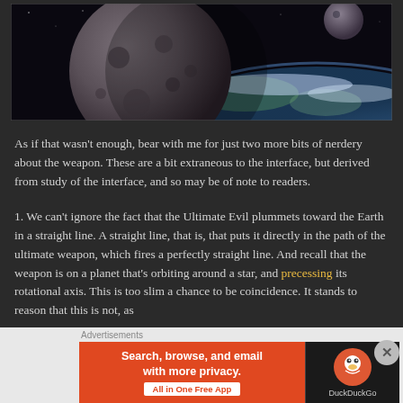[Figure (photo): Space scene showing a large rocky moon/planet in the foreground against a dark starfield, with Earth's blue and white surface visible in the background lower right.]
As if that wasn't enough, bear with me for just two more bits of nerdery about the weapon. These are a bit extraneous to the interface, but derived from study of the interface, and so may be of note to readers.
1. We can't ignore the fact that the Ultimate Evil plummets toward the Earth in a straight line. A straight line, that is, that puts it directly in the path of the ultimate weapon, which fires a perfectly straight line. And recall that the weapon is on a planet that's orbiting around a star, and precessing its rotational axis. This is too slim a chance to be coincidence. It stands to reason that this is not, as
Advertisements
[Figure (screenshot): DuckDuckGo advertisement banner: orange background with text 'Search, browse, and email with more privacy. All in One Free App' and DuckDuckGo logo on dark background.]